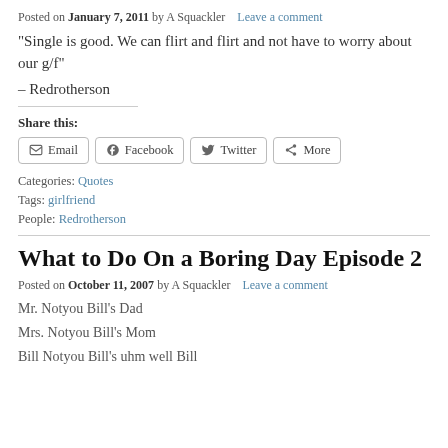Posted on January 7, 2011 by A Squackler   Leave a comment
“Single is good. We can flirt and flirt and not have to worry about our g/f”
– Redrotherson
Share this:
Email  Facebook  Twitter  More
Categories: Quotes
Tags: girlfriend
People: Redrotherson
What to Do On a Boring Day Episode 2
Posted on October 11, 2007 by A Squackler   Leave a comment
Mr. Notyou Bill's Dad
Mrs. Notyou Bill's Mom
Bill Notyou Bill's uhm well Bill